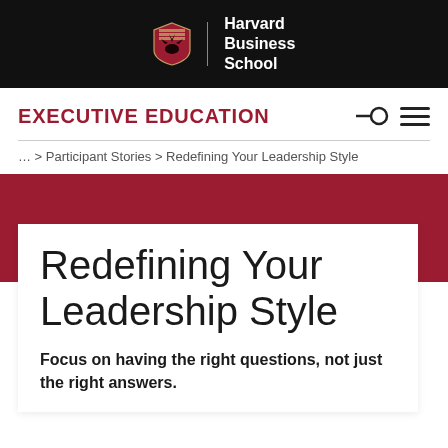[Figure (logo): Harvard Business School logo with shield crest and institution name on black background]
EXECUTIVE EDUCATION
... > Participant Stories > Redefining Your Leadership Style
Redefining Your Leadership Style
Focus on having the right questions, not just the right answers.